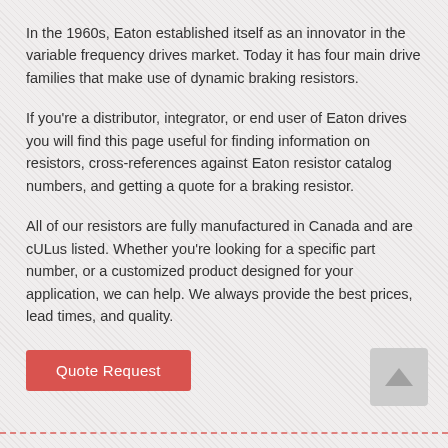In the 1960s, Eaton established itself as an innovator in the variable frequency drives market. Today it has four main drive families that make use of dynamic braking resistors.
If you're a distributor, integrator, or end user of Eaton drives you will find this page useful for finding information on resistors, cross-references against Eaton resistor catalog numbers, and getting a quote for a braking resistor.
All of our resistors are fully manufactured in Canada and are cULus listed. Whether you're looking for a specific part number, or a customized product designed for your application, we can help. We always provide the best prices, lead times, and quality.
[Figure (other): Red button labeled 'Quote Request']